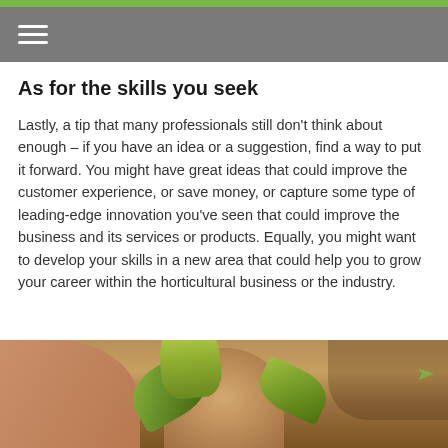≡
As for the skills you seek
Lastly, a tip that many professionals still don't think about enough – if you have an idea or a suggestion, find a way to put it forward. You might have great ideas that could improve the customer experience, or save money, or capture some type of leading-edge innovation you've seen that could improve the business and its services or products. Equally, you might want to develop your skills in a new area that could help you to grow your career within the horticultural business or the industry.
[Figure (photo): Hands holding a small potted plant with green leaves, warm indoor background]